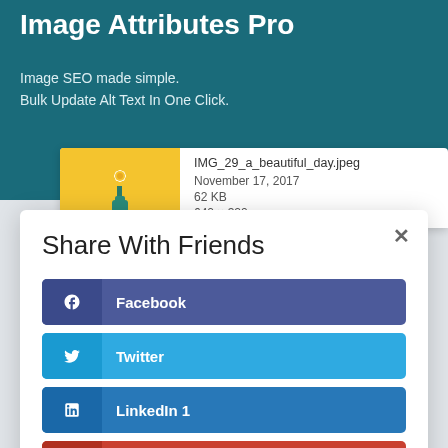Image Attributes Pro
Image SEO made simple.
Bulk Update Alt Text In One Click.
[Figure (screenshot): Preview card showing a thumbnail image of a flower in a bottle on yellow background, with filename IMG_29_a_beautiful_day.jpeg, date November 17, 2017, size 62 KB, dimensions 640 x 320]
Share With Friends
Facebook
Twitter
LinkedIn  1
Gmail